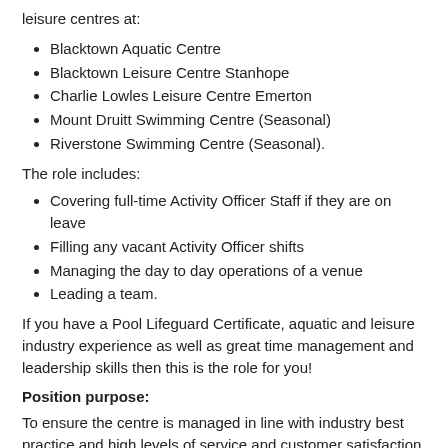leisure centres at:
Blacktown Aquatic Centre
Blacktown Leisure Centre Stanhope
Charlie Lowles Leisure Centre Emerton
Mount Druitt Swimming Centre (Seasonal)
Riverstone Swimming Centre (Seasonal).
The role includes:
Covering full-time Activity Officer Staff if they are on leave
Filling any vacant Activity Officer shifts
Managing the day to day operations of a venue
Leading a team.
If you have a Pool Lifeguard Certificate, aquatic and leisure industry experience as well as great time management and leadership skills then this is the role for you!
Position purpose:
To ensure the centre is managed in line with industry best practice and high levels of service and customer satisfaction. Activities Officers are responsible for ensuring the effective day to day operation of the Centre